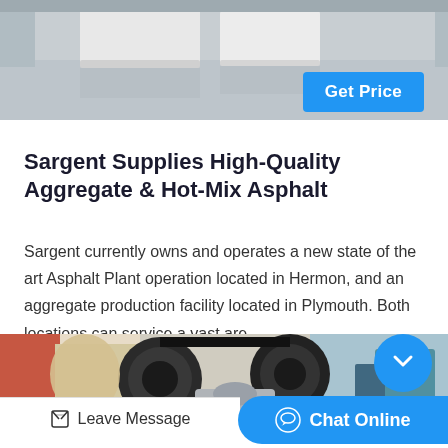[Figure (photo): Industrial facility interior with large white rectangular equipment on a polished concrete floor, viewed from above/side angle.]
Get Price
Sargent Supplies High-Quality Aggregate & Hot-Mix Asphalt
Sargent currently owns and operates a new state of the art Asphalt Plant operation located in Hermon, and an aggregate production facility located in Plymouth. Both locations can service a vast are…
[Figure (photo): Industrial machinery with large black pulleys/belts and grey mechanical components in a factory setting.]
Leave Message
Chat Online